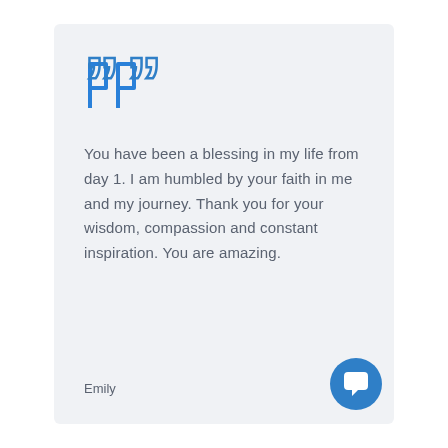[Figure (illustration): Large blue quotation mark icon (double right-facing quote marks) in outline style]
You have been a blessing in my life from day 1.  I am humbled by your faith in me and my journey.  Thank you for your wisdom, compassion and constant inspiration.  You are amazing.
Emily
[Figure (illustration): Blue circular chat/message button icon in bottom right corner]